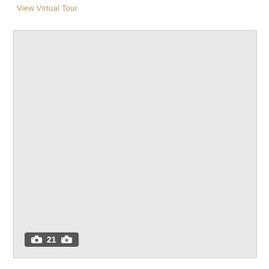View Virtual Tour
[Figure (photo): Large light gray placeholder image with a photo count badge showing '21' and a camera icon in the lower left corner]